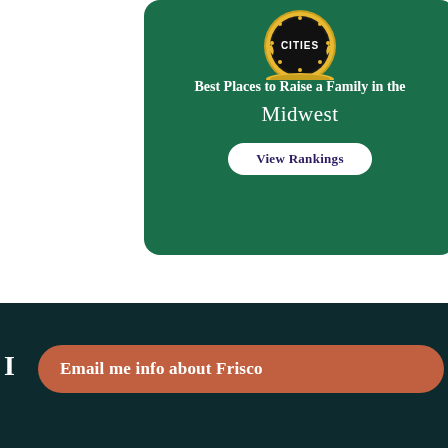[Figure (illustration): A dark green rounded card featuring a gold badge/seal at the top with 'CITIES' text, and text 'Best Places to Raise a Family in the Midwest' with a 'View Rankings' button on a green background.]
Email me info about Frisco